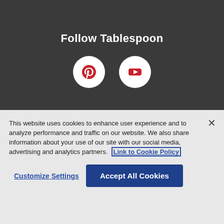Follow Tablespoon
[Figure (illustration): Pinterest logo icon (red P on white circle) and YouTube logo icon (red play button on white circle)]
This website uses cookies to enhance user experience and to analyze performance and traffic on our website. We also share information about your use of our site with our social media, advertising and analytics partners. Link to Cookie Policy
Customize Settings
Accept All Cookies